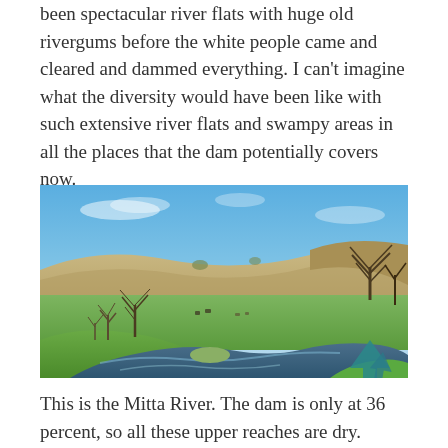been spectacular river flats with huge old rivergums before the white people came and cleared and dammed everything. I can't imagine what the diversity would have been like with such extensive river flats and swampy areas in all the places that the dam potentially covers now.
[Figure (photo): Photograph of the Mitta River showing a winding river through green flat grassland with bare trees, rolling hills in the background under a blue sky. A teal upward-pointing arrow watermark is visible in the lower right corner.]
This is the Mitta River. The dam is only at 36 percent, so all these upper reaches are dry.